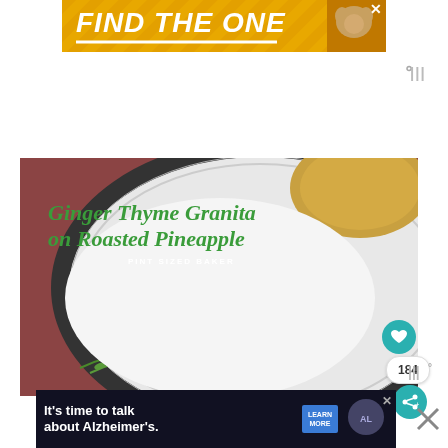[Figure (photo): Yellow banner advertisement with text 'FIND THE ONE' in bold white italic letters with a dog photo on right side]
[Figure (photo): Food photography showing a decorative plate with granita dessert on roasted pineapple, with thyme garnish on a red cloth background. Title overlay reads 'Ginger Thyme Granita on Roasted Pineapple' by PINT SIZED BAKER in green script lettering.]
[Figure (photo): Bottom banner advertisement for Alzheimer's Association with text 'It's time to talk about Alzheimer's.' with a Learn More button and Alzheimer's Association logo]